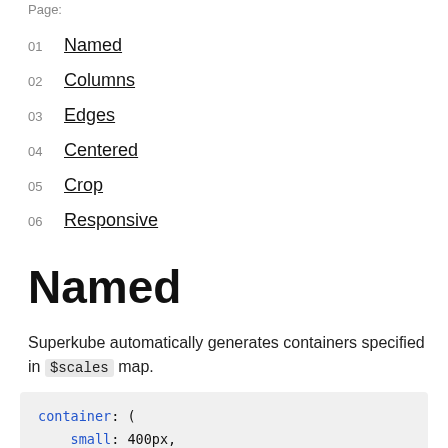Page:
01 Named
02 Columns
03 Edges
04 Centered
05 Crop
06 Responsive
Named
Superkube automatically generates containers specified in $scales map.
container: (
    small: 400px,